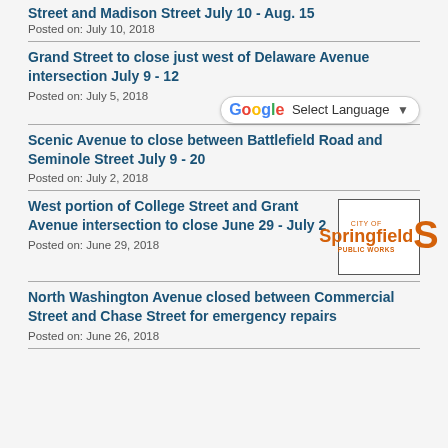Street and Madison Street July 10 - Aug. 15
Posted on: July 10, 2018
Grand Street to close just west of Delaware Avenue intersection July 9 - 12
Posted on: July 5, 2018
[Figure (logo): Google Translate Select Language dropdown button]
Scenic Avenue to close between Battlefield Road and Seminole Street July 9 - 20
Posted on: July 2, 2018
West portion of College Street and Grant Avenue intersection to close June 29 - July 2
[Figure (logo): City of Springfield Public Works logo in orange with stylized S]
Posted on: June 29, 2018
North Washington Avenue closed between Commercial Street and Chase Street for emergency repairs
Posted on: June 26, 2018